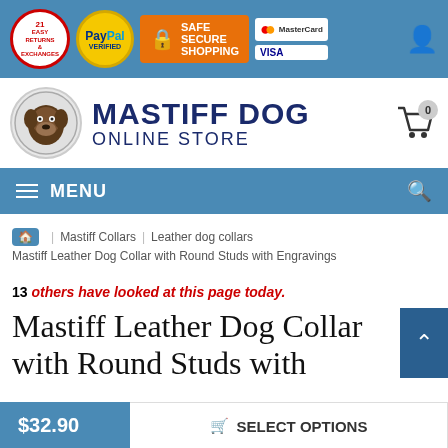[Figure (screenshot): Top trust/security bar with logos: Easy Returns & Exchanges badge, PayPal Verified badge, Safe Secure Shopping lock badge, MasterCard and VISA logos, and user account icon]
[Figure (logo): Mastiff Dog Online Store logo with circular mastiff dog illustration and store name text]
[Figure (screenshot): Blue navigation menu bar with hamburger icon, MENU text, and search icon]
Mastiff Collars | Leather dog collars | Mastiff Leather Dog Collar with Round Studs with Engravings
13 others have looked at this page today.
Mastiff Leather Dog Collar with Round Studs with
$32.90
SELECT OPTIONS